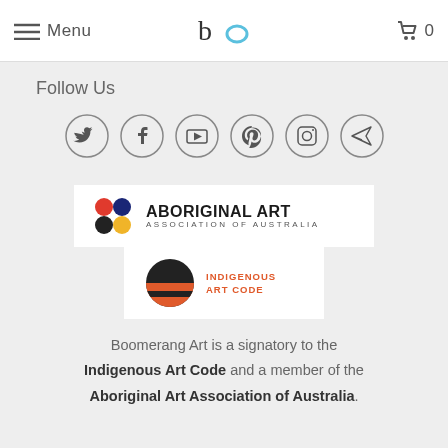Menu  ba  0
Follow Us
[Figure (illustration): Six social media icons in circles: Twitter, Facebook, YouTube, Pinterest, Instagram, and a send/paper-plane icon]
[Figure (logo): Aboriginal Art Association of Australia logo with colored dots (red, dark blue, black, yellow) and bold text ABORIGINAL ART / ASSOCIATION OF AUSTRALIA]
[Figure (logo): Indigenous Art Code logo with a circle divided into black and red/orange halves, with text INDIGENOUS ART CODE]
Boomerang Art is a signatory to the Indigenous Art Code and a member of the Aboriginal Art Association of Australia.